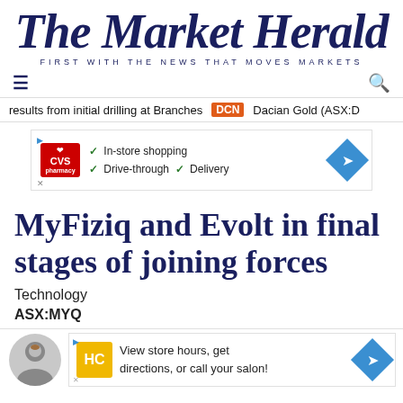The Market Herald — FIRST WITH THE NEWS THAT MOVES MARKETS
results from initial drilling at Branches DCN Dacian Gold (ASX:D
[Figure (other): CVS Pharmacy advertisement banner: In-store shopping, Drive-through, Delivery]
MyFiziq and Evolt in final stages of joining forces
Technology
ASX:MYQ
[Figure (other): Bottom advertisement banner: View store hours, get directions, or call your salon! with HC logo and author avatar]